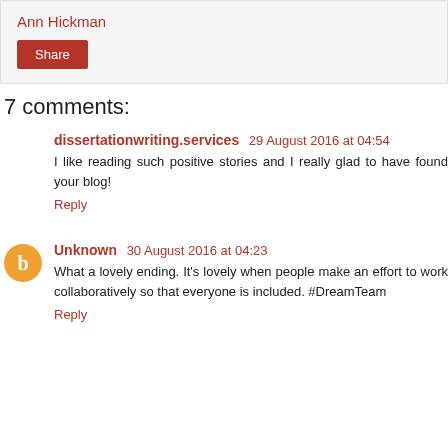Ann Hickman
Share
7 comments:
dissertationwriting.services  29 August 2016 at 04:54
I like reading such positive stories and I really glad to have found your blog!
Reply
Unknown  30 August 2016 at 04:23
What a lovely ending. It's lovely when people make an effort to work collaboratively so that everyone is included. #DreamTeam
Reply